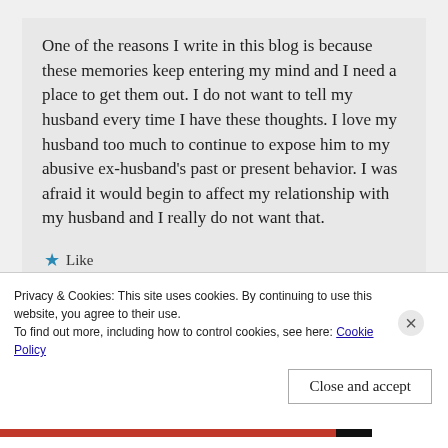One of the reasons I write in this blog is because these memories keep entering my mind and I need a place to get them out. I do not want to tell my husband every time I have these thoughts. I love my husband too much to continue to expose him to my abusive ex-husband's past or present behavior. I was afraid it would begin to affect my relationship with my husband and I really do not want that.
★ Like
Advertisements
Professionally designed sites in less than a week
Privacy & Cookies: This site uses cookies. By continuing to use this website, you agree to their use.
To find out more, including how to control cookies, see here: Cookie Policy
Close and accept